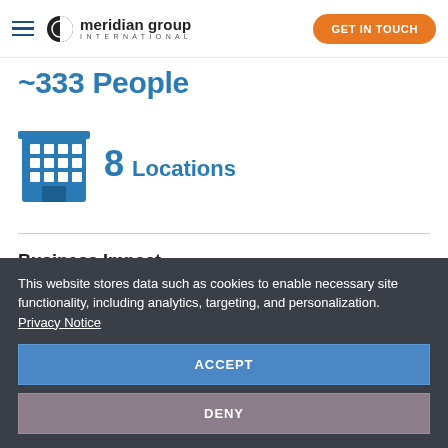meridian group INTERNATIONAL | GET IN TOUCH
~333 People
[Figure (illustration): Blue building/office icon with grid windows]
8 Locations
Business Impact
Continuing their mission of putting their customers first, Buchheit found a partner in Meridian who does the same.
This website stores data such as cookies to enable necessary site functionality, including analytics, targeting, and personalization. Privacy Notice
ACCEPT
DENY